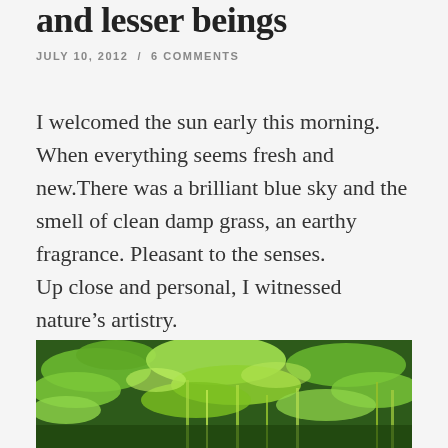and lesser beings
JULY 10, 2012  /  6 COMMENTS
I welcomed the sun early this morning. When everything seems fresh and new.There was a brilliant blue sky and the smell of clean damp grass, an earthy fragrance. Pleasant to the senses.
Up close and personal, I witnessed nature’s artistry.
[Figure (photo): Close-up photograph of green fern and grass foliage in natural outdoor setting, bright sunlit scene with various shades of green leaves and grass blades.]